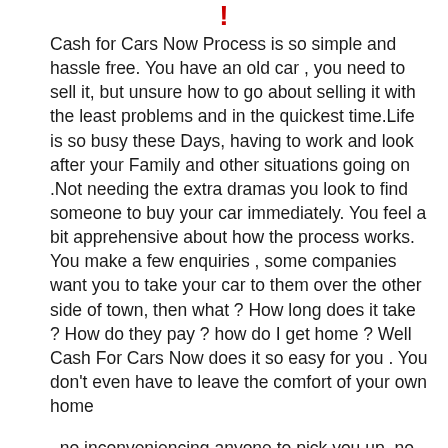!
Cash for Cars Now Process is so simple and hassle free. You have an old car , you need to sell it, but unsure how to go about selling it with the least problems and in the quickest time.Life is so busy these Days, having to work and look after your Family and other situations going on .Not needing the extra dramas you look to find someone to buy your car immediately. You feel a bit apprehensive about how the process works. You make a few enquiries , some companies want you to take your car to them over the other side of town, then what ? How long does it take ? How do they pay ? how do I get home ? Well Cash For Cars Now does it so easy for you . You don't even have to leave the comfort of your own home
, no inconveniencing anyone to pick you up, no worrying about how you get paid, "Cash for Cars now" says it all , we pay Cash for your car on the spot. We travel to your place of work or to your home, Inspection doesn't take long at all, offering you a fair and equitable price for your car. We make sure all paper work is carried out legally, so you don't receive any infringements or toll